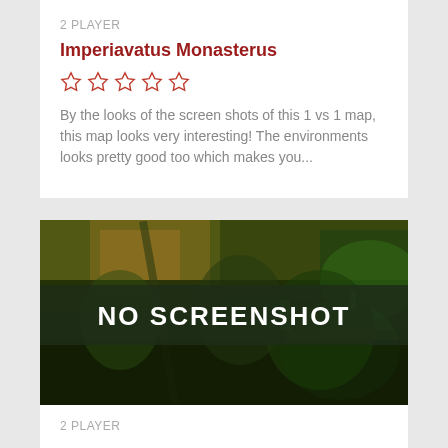2 PLAYER
Imperiavatus Monasterus
[Figure (other): Five empty star rating icons in red/orange outline]
By the looks of the screen shots of this 1 vs 1 map, this map looks very interesting! The environments looks pretty good too which makes you...
[Figure (photo): Game screenshot placeholder image showing armored fantasy/sci-fi warrior figures with green glowing effects, overlaid with a dark semi-transparent banner reading NO SCREENSHOT in white bold text]
2 PLAYER